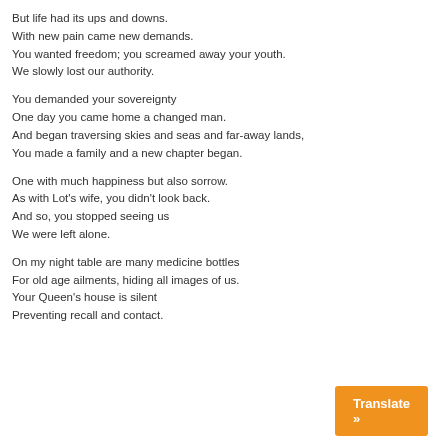But life had its ups and downs.
With new pain came new demands.
You wanted freedom; you screamed away your youth.
We slowly lost our authority.

You demanded your sovereignty
One day you came home a changed man.
And began traversing skies and seas and far-away lands,
You made a family and a new chapter began.

One with much happiness but also sorrow.
As with Lot's wife, you didn't look back.
And so, you stopped seeing us
We were left alone.

On my night table are many medicine bottles
For old age ailments, hiding all images of us.
Your Queen's house is silent
Preventing recall and contact.